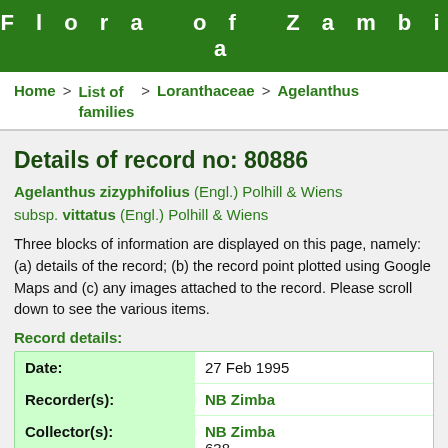Flora of Zambia
Home > List of families > Loranthaceae > Agelanthus
Details of record no: 80886
Agelanthus zizyphifolius (Engl.) Polhill & Wiens subsp. vittatus (Engl.) Polhill & Wiens
Three blocks of information are displayed on this page, namely: (a) details of the record; (b) the record point plotted using Google Maps and (c) any images attached to the record. Please scroll down to see the various items.
Record details:
| Field | Value |
| --- | --- |
| Date: | 27 Feb 1995 |
| Recorder(s): | NB Zimba |
| Collector(s): | NB Zimba
638 |
| Determiner(s): | RE Gereau |
| Confirmer(s): |  |